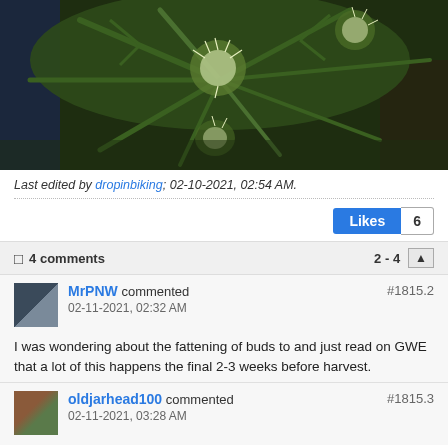[Figure (photo): Close-up photo of cannabis plants with green fan leaves and white pistil-covered buds, viewed from above, dark background]
Last edited by dropinbiking; 02-10-2021, 02:54 AM.
Likes 6
4 comments  2 - 4
MrPNW commented  02-11-2021, 02:32 AM  #1815.2
I was wondering about the fattening of buds to and just read on GWE that a lot of this happens the final 2-3 weeks before harvest.
oldjarhead100 commented  02-11-2021, 03:28 AM  #1815.3